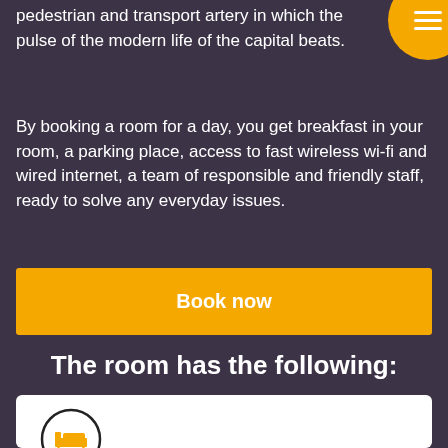pedestrian and transport artery in which the pulse of the modern life of the capital beats.
By booking a room for a day, you get breakfast in your room, a parking place, access to fast wireless wi-fi and wired internet, a team of responsible and friendly staff, ready to solve any everyday issues.
Book now
The room has the following:
[Figure (illustration): Circular icon with a yellow bed/room symbol on white background with black border]
Two single beds with a super orthopedic